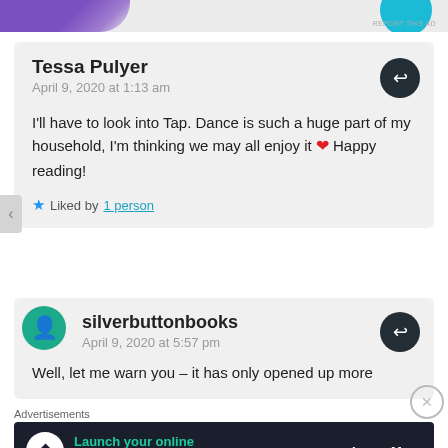[Figure (screenshot): Top banner with purple and teal/blue brand graphics, REPORT THIS AD label]
Tessa Pulyer
April 9, 2020 at 1:13 am

I'll have to look into Tap. Dance is such a huge part of my household, I'm thinking we may all enjoy it ❤ Happy reading!

★ Liked by 1 person
silverbuttonbooks
April 9, 2020 at 5:57 pm

Well, let me warn you – it has only opened up more
Advertisements
[Figure (infographic): Advertisement banner: Launch your online course with WordPress - Learn More]